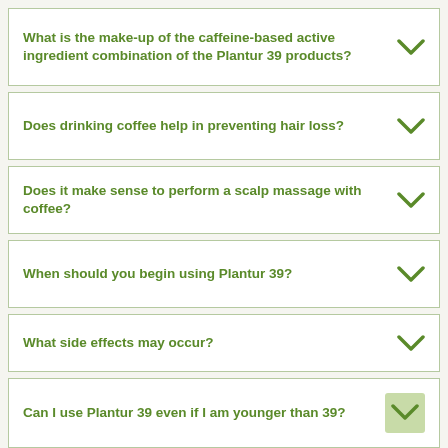What is the make-up of the caffeine-based active ingredient combination of the Plantur 39 products?
Does drinking coffee help in preventing hair loss?
Does it make sense to perform a scalp massage with coffee?
When should you begin using Plantur 39?
What side effects may occur?
Can I use Plantur 39 even if I am younger than 39?